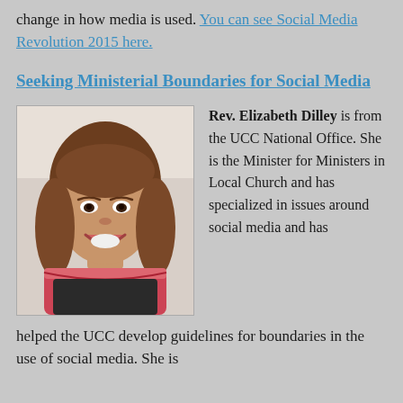change in how media is used. You can see Social Media Revolution 2015 here.
Seeking Ministerial Boundaries for Social Media
[Figure (photo): Headshot photo of Rev. Elizabeth Dilley, a woman with medium-length brown hair, smiling, wearing a red/pink scarf.]
Rev. Elizabeth Dilley is from the UCC National Office. She is the Minister for Ministers in Local Church and has specialized in issues around social media and has helped the UCC develop guidelines for boundaries in the use of social media. She is